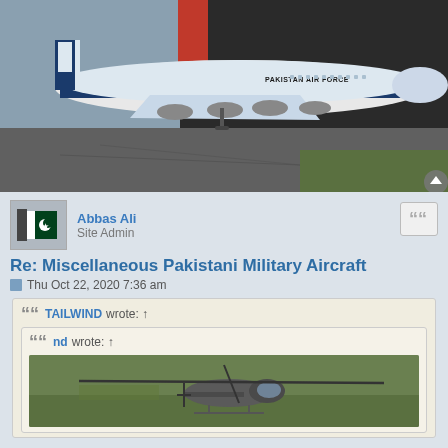[Figure (photo): Pakistan Air Force aircraft (large jet) parked on tarmac in front of a hangar. The aircraft is white and blue with 'PAKISTAN AIR FORCE' written on the fuselage.]
Abbas Ali
Site Admin
Re: Miscellaneous Pakistani Military Aircraft
Thu Oct 22, 2020 7:36 am
TAILWIND wrote: ↑
nd wrote: ↑
[Figure (photo): Helicopter on grass field, viewed from above/side angle.]